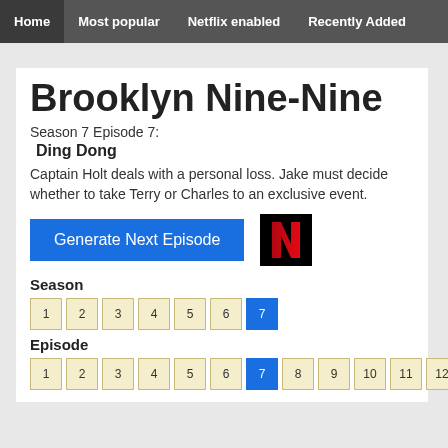Home | Most popular | Netflix enabled | Recently Added
Brooklyn Nine-Nine
Season 7 Episode 7:
Ding Dong
Captain Holt deals with a personal loss. Jake must decide whether to take Terry or Charles to an exclusive event.
Generate Next Episode
[Figure (logo): Netflix N logo, black background with red N]
Season
1 2 3 4 5 6 7 (7 selected)
Episode
1 2 3 4 5 6 7 8 9 10 11 12 (7 selected)